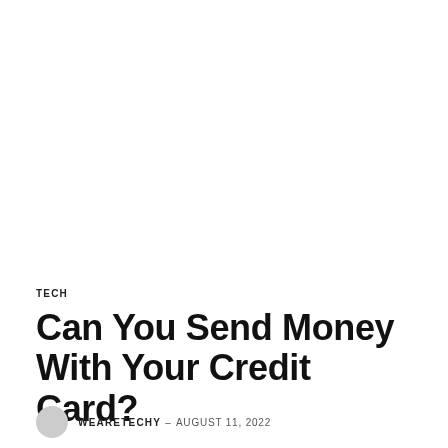TECH
Can You Send Money With Your Credit Card?
WEARETECHY – AUGUST 11, 2022